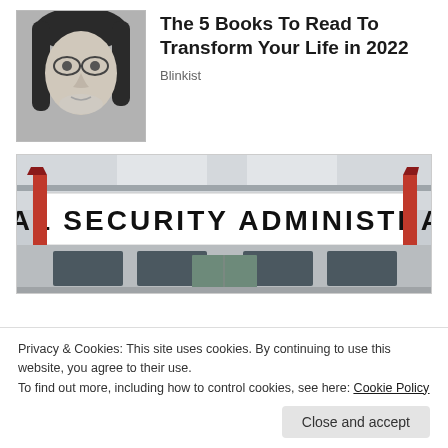[Figure (photo): Black and white photo of a young man with long hair and round glasses]
The 5 Books To Read To Transform Your Life in 2022
Blinkist
[Figure (photo): Photo of a Social Security Administration building exterior with a white banner sign reading SOCIAL SECURITY ADMINISTRATION in bold black letters, flanked by red pillars]
Privacy & Cookies: This site uses cookies. By continuing to use this website, you agree to their use.
To find out more, including how to control cookies, see here: Cookie Policy